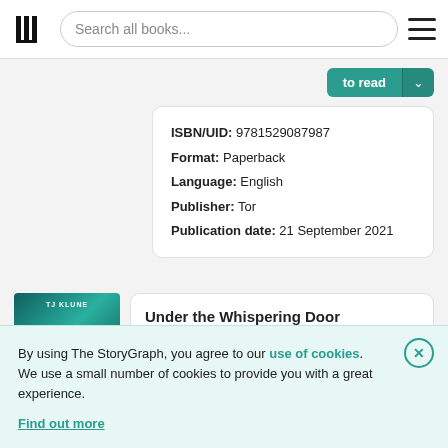Search all books...
ISBN/UID: 9781529087987
Format: Paperback
Language: English
Publisher: Tor
Publication date: 21 September 2021
Under the Whispering Door
By using The StoryGraph, you agree to our use of cookies.
We use a small number of cookies to provide you with a great experience.
Find out more